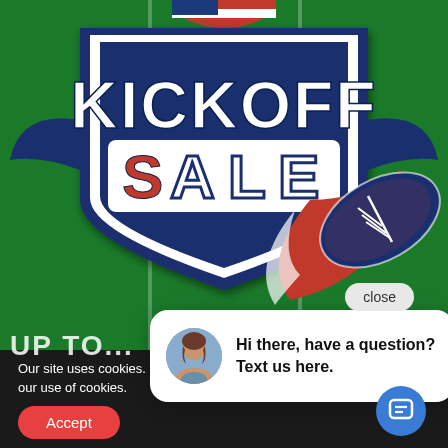[Figure (illustration): Kickoff Sale promotional banner on a green football field background. Features a bold 'KICKOFF SALE' logo in navy/white/red, with an American football illustration in red and navy. A chat popup appears overlaid asking 'Hi there, have a question? Text us here.' with a female avatar. A 'close' button is visible. At the bottom is a dark cookie consent bar with Accept button and a blue circular chat icon.]
Hi there, have a question? Text us here.
Our site uses cookies. By using our site, you acknowledge and accept our use of cookies.
Accept
close